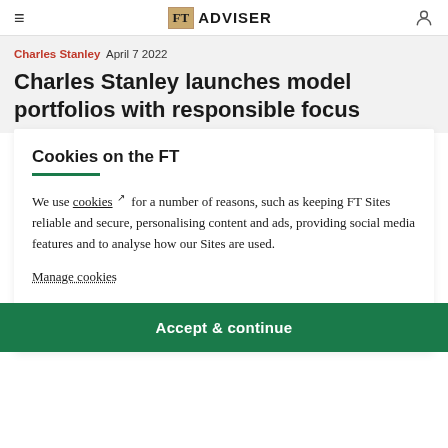FT ADVISER
Charles Stanley April 7 2022
Charles Stanley launches model portfolios with responsible focus
Cookies on the FT
We use cookies for a number of reasons, such as keeping FT Sites reliable and secure, personalising content and ads, providing social media features and to analyse how our Sites are used.
Manage cookies
Accept & continue